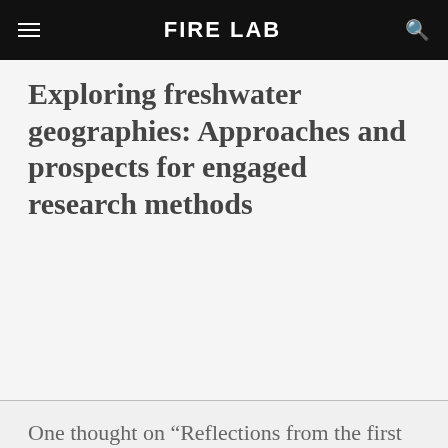FIRE LAB
Exploring freshwater geographies: Approaches and prospects for engaged research methods
One thought on “Reflections from the first ‘What is Water?’ event”